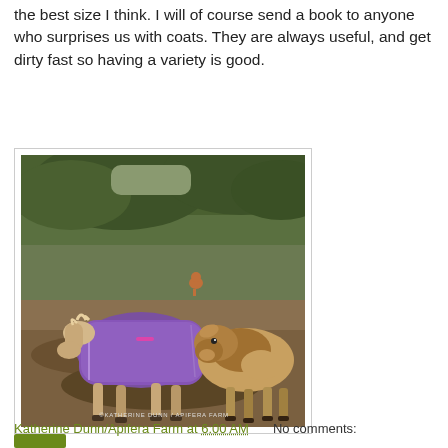the best size I think. I will of course send a book to anyone who surprises us with coats. They are always useful, and get dirty fast so having a variety is good.
[Figure (photo): A small pony wearing a purple horse blanket/coat stands in a muddy field next to a brown and white goat. A chicken is visible in the background on a green grassy hill. Photo credit: ©KATHERINE DUNN / APIFERA FARM]
Katherine Dunn/Apifera Farm at 6:00 AM    No comments: